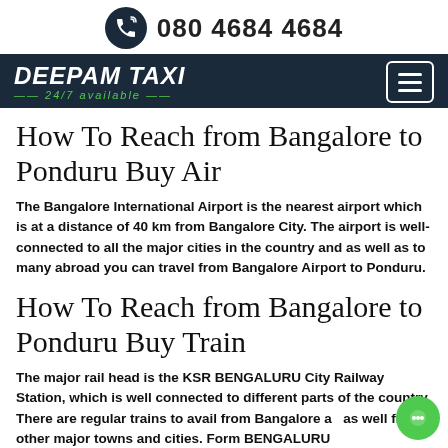080 4684 4684
DEEPAM TAXI — 24/7 available —
How To Reach from Bangalore to Ponduru Buy Air
The Bangalore International Airport is the nearest airport which is at a distance of 40 km from Bangalore City. The airport is well-connected to all the major cities in the country and as well as to many abroad you can travel from Bangalore Airport to Ponduru.
How To Reach from Bangalore to Ponduru Buy Train
The major rail head is the KSR BENGALURU City Railway Station, which is well connected to different parts of the country. There are regular trains to avail from Bangalore as well from other major towns and cities. Form BENGALURU